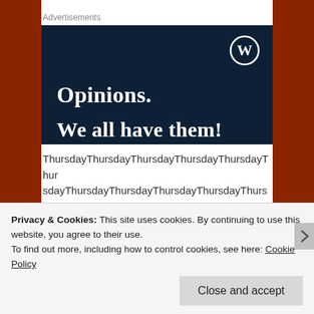Advertisements
[Figure (illustration): WordPress advertisement banner with dark navy background. WordPress logo (W in circle) in top right. Large white serif text reading 'Opinions.' and 'We all have them!' partially visible at bottom.]
ThursdayThursdayThursdayThursdayThursdayThursdayThursdayThursdayThursdayThursdayThursday
Advertisements
Privacy & Cookies: This site uses cookies. By continuing to use this website, you agree to their use.
To find out more, including how to control cookies, see here: Cookie Policy
Close and accept